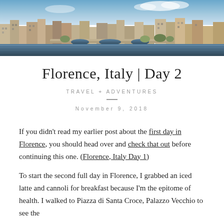[Figure (photo): Panoramic photograph of Florence, Italy showing the Arno River with historic buildings and bridges]
Florence, Italy | Day 2
Travel + Adventures
November 9, 2018
If you didn't read my earlier post about the first day in Florence, you should head over and check that out before continuing this one. (Florence, Italy Day 1)
To start the second full day in Florence, I grabbed an iced latte and cannoli for breakfast because I'm the epitome of health. I walked to Piazza di Santa Croce, Palazzo Vecchio to see the